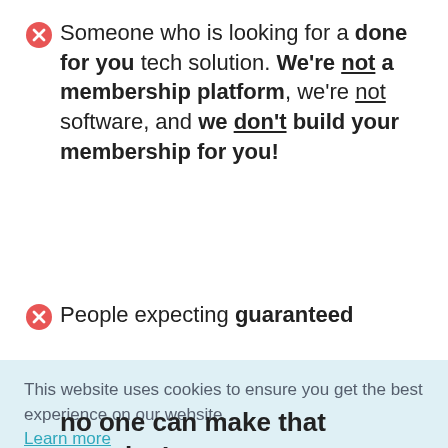Someone who is looking for a done for you tech solution. We're not a membership platform, we're not software, and we don't build your membership for you!
People expecting guaranteed
This website uses cookies to ensure you get the best experience on our website. Learn more
Got it!
no one can make that promise!